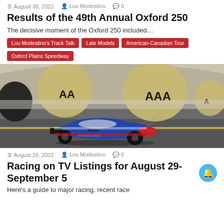August 30, 2022  Lou Modestino  0
Results of the 49th Annual Oxford 250
The decisive moment of the Oxford 250 included…
Lou Modestino's Track Talk
Late Models
American-Canadian Tour
Oxford Plains Speedway
[Figure (photo): NHRA funny car drag racing car with AAA parachutes deployed on a race track]
August 29, 2022  Lou Modestino  0
Racing on TV Listings for August 29-September 5
Here's a guide to major racing, recent race